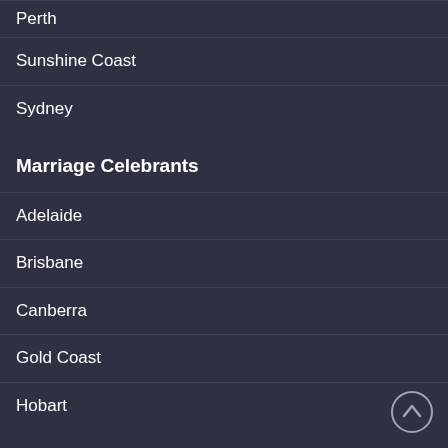Perth
Sunshine Coast
Sydney
Marriage Celebrants
Adelaide
Brisbane
Canberra
Gold Coast
Hobart